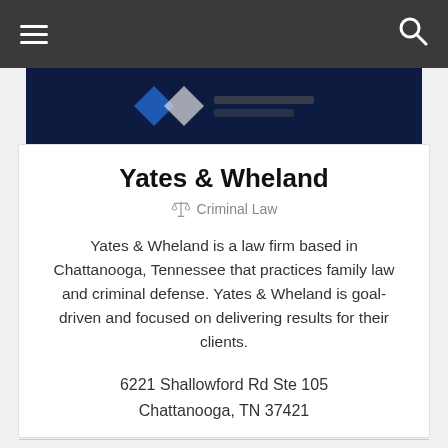Navigation bar with hamburger menu and search icon
[Figure (logo): Law firm logo banner on dark navy background with blue diamond/shield shapes]
Yates & Wheland
⚖ Criminal Law
Yates & Wheland is a law firm based in Chattanooga, Tennessee that practices family law and criminal defense. Yates & Wheland is goal-driven and focused on delivering results for their clients.
6221 Shallowford Rd Ste 105
Chattanooga, TN 37421
(423) 454-3485
View Profile